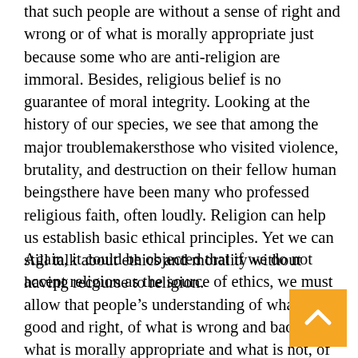that such people are without a sense of right and wrong or of what is morally appropriate just because some who are anti-religion are immoral. Besides, religious belief is no guarantee of moral integrity. Looking at the history of our species, we see that among the major troublemakers—those who visited violence, brutality, and destruction on their fellow human beings—there have been many who professed religious faith, often loudly. Religion can help us establish basic ethical principles. Yet we can still talk about ethics and morality without having recourse to religion.
Again, it could be objected that if we do not accept religion as the source of ethics, we must allow that people’s understanding of what is good and right, of what is wrong and bad, of what is morally appropriate and what is not, of what constitutes a positive act and what a negative act must vary according to circumstances and even from person to person. But here let me say that no one should suppose it could ever be possible to devise a set of rules